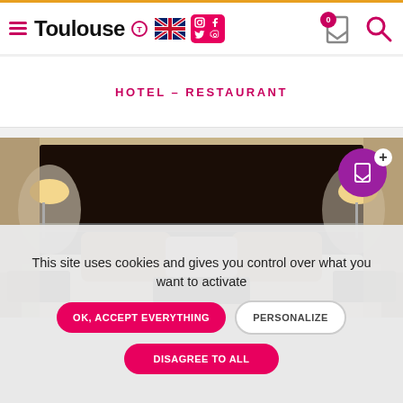Toulouse
HOTEL – RESTAURANT
[Figure (photo): Hotel room photo showing a double bed with dark headboard, brown pillows, warm lighting from bedside lamps]
This site uses cookies and gives you control over what you want to activate
OK, ACCEPT EVERYTHING
PERSONALIZE
DISAGREE TO ALL